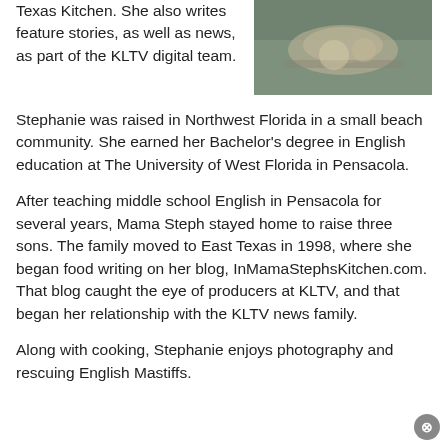Texas Kitchen. She also writes feature stories, as well as news, as part of the KLTV digital team.
[Figure (photo): Photo of food or kitchen scene, partially visible at top right]
Stephanie was raised in Northwest Florida in a small beach community. She earned her Bachelor's degree in English education at The University of West Florida in Pensacola.
After teaching middle school English in Pensacola for several years, Mama Steph stayed home to raise three sons. The family moved to East Texas in 1998, where she began food writing on her blog, InMamaStephsKitchen.com. That blog caught the eye of producers at KLTV, and that began her relationship with the KLTV news family.
Along with cooking, Stephanie enjoys photography and rescuing English Mastiffs.